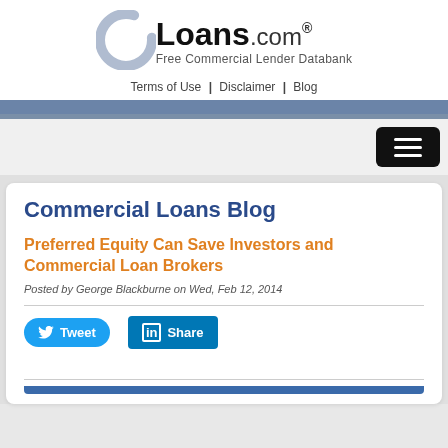[Figure (logo): CLoans.com logo with stylized C and text 'Loans.com® Free Commercial Lender Databank']
Terms of Use | Disclaimer | Blog
Commercial Loans Blog
Preferred Equity Can Save Investors and Commercial Loan Brokers
Posted by George Blackburne on Wed, Feb 12, 2014